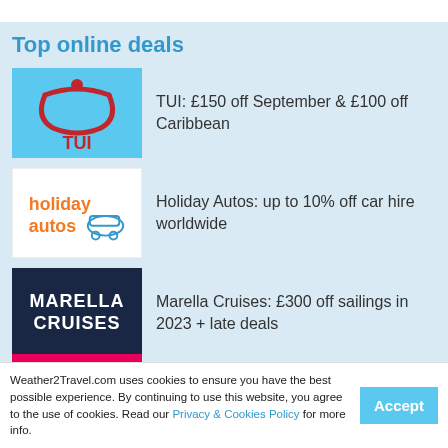Top online deals
[Figure (logo): TUI logo — light blue background with red TUI arrow/smile symbol and red TUI text]
TUI: £150 off September & £100 off Caribbean
[Figure (logo): Holiday Autos logo — white background with orange 'holiday autos' text and a car outline illustration]
Holiday Autos: up to 10% off car hire worldwide
[Figure (logo): Marella Cruises logo — dark navy background with white bold MARELLA CRUISES text]
Marella Cruises: £300 off sailings in 2023 + late deals
Weather2Travel.com uses cookies to ensure you have the best possible experience. By continuing to use this website, you agree to the use of cookies. Read our Privacy & Cookies Policy for more info.